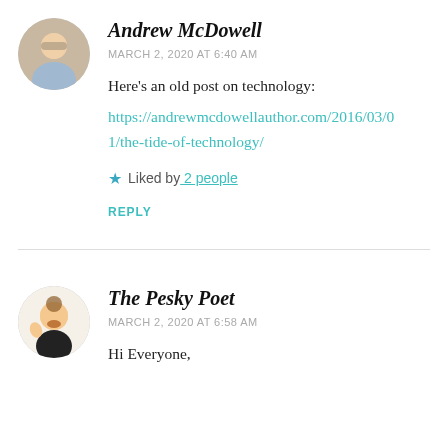Andrew McDowell
MARCH 2, 2020 AT 6:40 AM
Here's an old post on technology:
https://andrewmcdowellauthor.com/2016/03/01/the-tide-of-technology/
Liked by 2 people
REPLY
The Pesky Poet
MARCH 2, 2020 AT 6:58 AM
Hi Everyone,